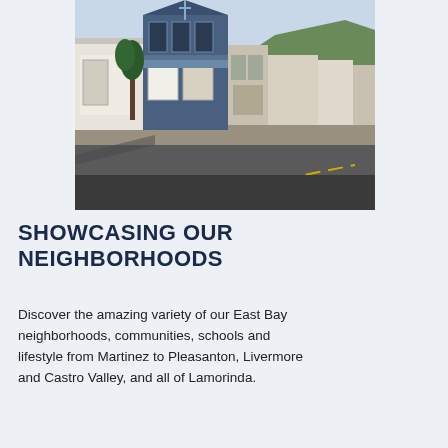[Figure (photo): Street-level photograph of a small-town downtown scene showing storefronts along a road, including a blue Victorian-style multi-story building with white trim, other commercial buildings, and hills/mountains visible in the background. Taken from across the street showing the roadway with road markings in the foreground.]
SHOWCASING OUR NEIGHBORHOODS
Discover the amazing variety of our East Bay neighborhoods, communities, schools and lifestyle from Martinez to Pleasanton, Livermore and Castro Valley, and all of Lamorinda.